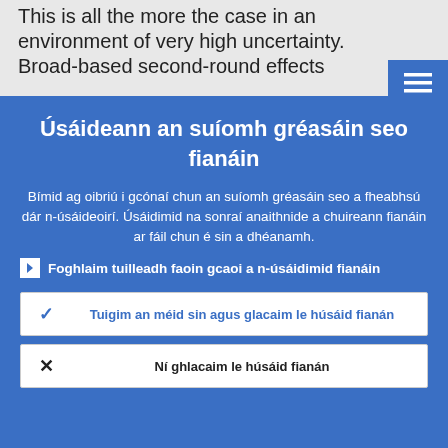This is all the more the case in an environment of very high uncertainty. Broad-based second-round effects
Úsáideann an suíomh gréasáin seo fianáin
Bímid ag oibriú i gcónaí chun an suíomh gréasáin seo a fheabhsú dár n-úsáideoirí. Úsáidimid na sonraí anaithnide a chuireann fianáin ar fáil chun é sin a dhéanamh.
Foghlaim tuilleadh faoin gcaoi a n-úsáidimid fianáin
Tuigim an méid sin agus glacaim le húsáid fianán
Ní ghlacaim le húsáid fianán